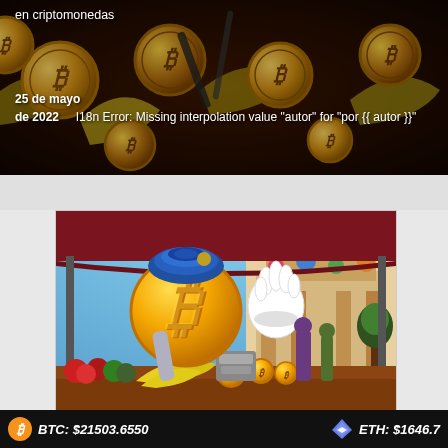[Figure (illustration): Top banner image showing Bitcoin coins and bananas, cryptocurrency market themed illustration with coins overlapping]
en criptomonedas
25 de mayo de 2022    I18n Error: Missing interpolation value "autor" for "por {{ autor }}"
[Figure (illustration): Cartoon illustration of a Bitcoin character (B symbol with blue turban and white gloved hand waving) at a market stall with fruits, bananas, apples, and crypto coins. Background shows a colorful Hindu temple and real street photography.]
BTC: $21503.6550    ETH: $1646.7